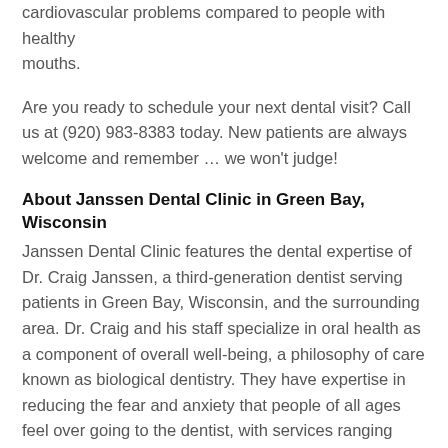cardiovascular problems compared to people with healthy mouths.
Are you ready to schedule your next dental visit? Call us at (920) 983-8383 today. New patients are always welcome and remember … we won't judge!
About Janssen Dental Clinic in Green Bay, Wisconsin
Janssen Dental Clinic features the dental expertise of Dr. Craig Janssen, a third-generation dentist serving patients in Green Bay, Wisconsin, and the surrounding area. Dr. Craig and his staff specialize in oral health as a component of overall well-being, a philosophy of care known as biological dentistry. They have expertise in reducing the fear and anxiety that people of all ages feel over going to the dentist, with services ranging from routine cleanings to restorative and cosmetic procedures.